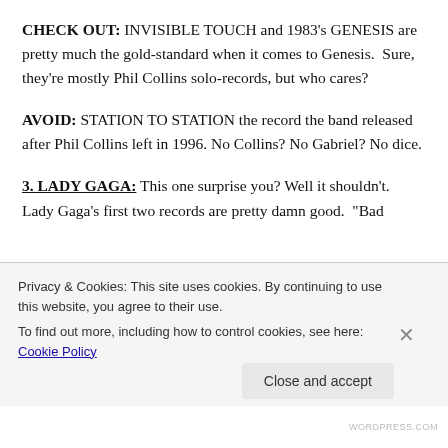CHECK OUT: INVISIBLE TOUCH and 1983's GENESIS are pretty much the gold-standard when it comes to Genesis.  Sure, they're mostly Phil Collins solo-records, but who cares?
AVOID: STATION TO STATION the record the band released after Phil Collins left in 1996. No Collins? No Gabriel? No dice.
3. LADY GAGA:
This one surprise you? Well it shouldn't.
Lady Gaga's first two records are pretty damn good.  "Bad
Privacy & Cookies: This site uses cookies. By continuing to use this website, you agree to their use.
To find out more, including how to control cookies, see here: Cookie Policy
Close and accept